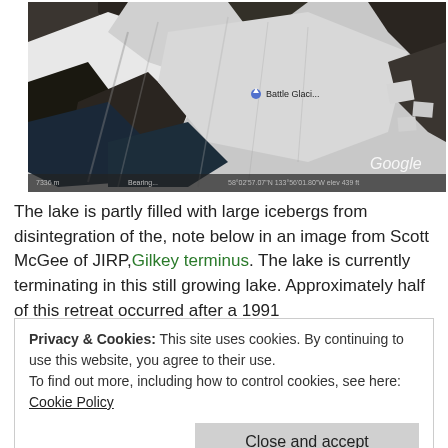[Figure (photo): Satellite aerial image (Google) of a glacier and lake area showing large icebergs, snow, and rock formations. A blue star marker labeled 'Battle Glacier' is visible near the center. Google logo visible in bottom right corner.]
The lake is partly filled with large icebergs from disintegration of the, note below in an image from Scott McGee of JIRP, Gilkey terminus. The lake is currently terminating in this still growing lake. Approximately half of this retreat occurred after a 1991
Privacy & Cookies: This site uses cookies. By continuing to use this website, you agree to their use.
To find out more, including how to control cookies, see here: Cookie Policy
Close and accept
stagnant and will break up soon.